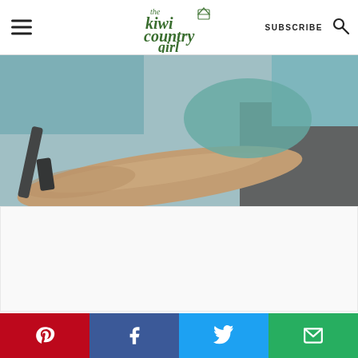The Kiwi Country Girl — SUBSCRIBE
[Figure (photo): Person's arm resting on a car window/door, blurred background, teal shirt visible]
[Figure (other): Advertisement / content placeholder area]
[Figure (other): Social share bar with Pinterest, Facebook, Twitter, and Email buttons]